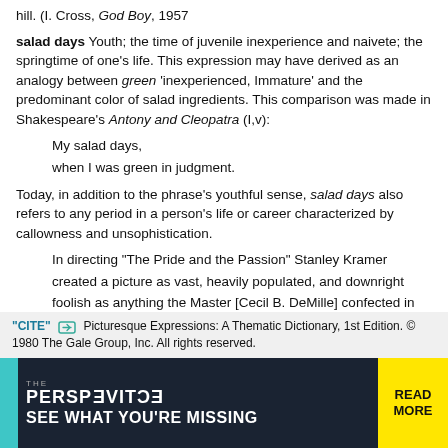hill. (I. Cross, God Boy, 1957
salad days Youth; the time of juvenile inexperience and naivete; the springtime of one's life. This expression may have derived as an analogy between green 'inexperienced, Immature' and the predominant color of salad ingredients. This comparison was made in Shakespeare's Antony and Cleopatra (I,v):
My salad days,
when I was green in judgment.
Today, in addition to the phrase's youthful sense, salad days also refers to any period in a person's life or career characterized by callowness and unsophistication.
In directing “The Pride and the Passion” Stanley Kramer created a picture as vast, heavily populated, and downright foolish as anything the Master [Cecil B. DeMille] confected in his salad days. (New Yorker, July, 1957)
“CITE”  Picturesque Expressions: A Thematic Dictionary, 1st Edition. © 1980 The Gale Group, Inc. All rights reserved.